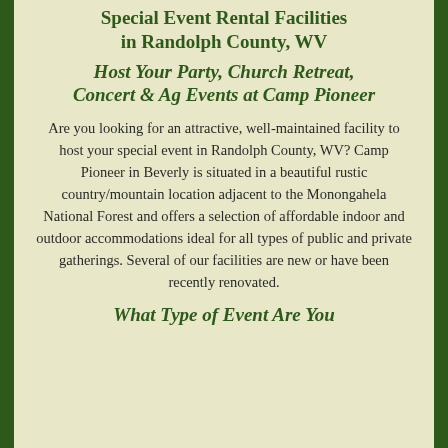Special Event Rental Facilities in Randolph County, WV
Host Your Party, Church Retreat, Concert & Ag Events at Camp Pioneer
Are you looking for an attractive, well-maintained facility to host your special event in Randolph County, WV? Camp Pioneer in Beverly is situated in a beautiful rustic country/mountain location adjacent to the Monongahela National Forest and offers a selection of affordable indoor and outdoor accommodations ideal for all types of public and private gatherings. Several of our facilities are new or have been recently renovated.
What Type of Event Are You